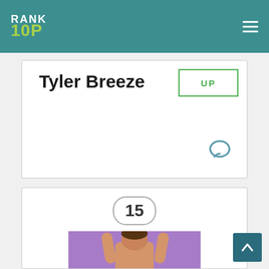RANK 10P
Tyler Breeze
UP
15
[Figure (photo): Wrestler with arms raised in a wrestling ring with purple and gray mat, wearing red/white/blue trunks with text on them]